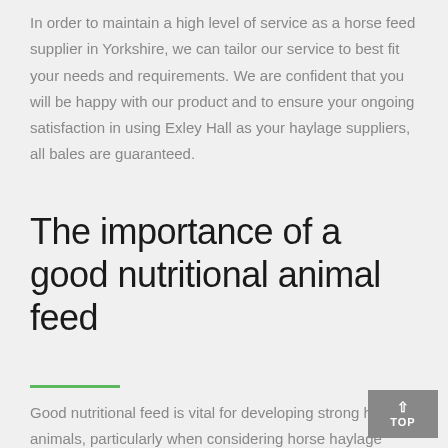In order to maintain a high level of service as a horse feed supplier in Yorkshire, we can tailor our service to best fit your needs and requirements. We are confident that you will be happy with our product and to ensure your ongoing satisfaction in using Exley Hall as your haylage suppliers, all bales are guaranteed.
The importance of a good nutritional animal feed
Good nutritional feed is vital for developing strong healthy animals, particularly when considering horse haylage